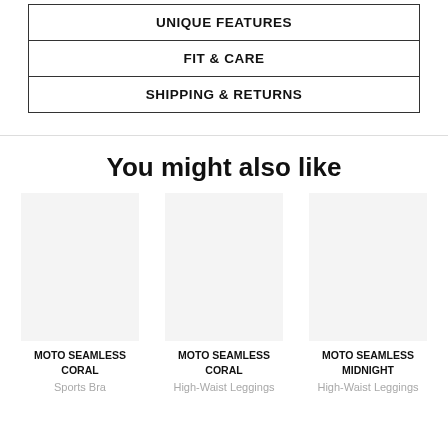| UNIQUE FEATURES |
| FIT & CARE |
| SHIPPING & RETURNS |
You might also like
[Figure (other): Placeholder image for MOTO SEAMLESS CORAL Sports Bra product]
MOTO SEAMLESS CORAL
Sports Bra
[Figure (other): Placeholder image for MOTO SEAMLESS CORAL High-Waist Leggings product]
MOTO SEAMLESS CORAL
High-Waist Leggings
[Figure (other): Placeholder image for MOTO SEAMLESS MIDNIGHT High-Waist Leggings product]
MOTO SEAMLESS MIDNIGHT
High-Waist Leggings